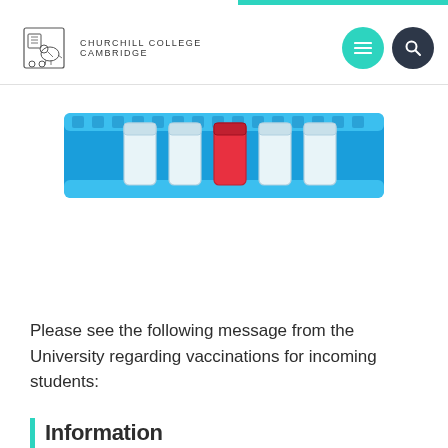CHURCHILL COLLEGE CAMBRIDGE
[Figure (photo): A blue laboratory test tube rack holding several clear/glass vials and one red vial, photographed against a white background.]
Please see the following message from the University regarding vaccinations for incoming students:
Information